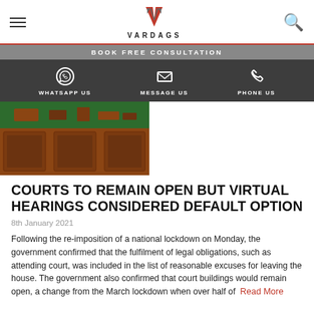VARDAGS — navigation header with hamburger menu, logo, and search icon
BOOK FREE CONSULTATION
WHATSAPP US  MESSAGE US  PHONE US
[Figure (photo): Photo of a wooden court bench/judge's desk with green baize top, wooden panelling, and items on the desk]
COURTS TO REMAIN OPEN BUT VIRTUAL HEARINGS CONSIDERED DEFAULT OPTION
8th January 2021
Following the re-imposition of a national lockdown on Monday, the government confirmed that the fulfilment of legal obligations, such as attending court, was included in the list of reasonable excuses for leaving the house. The government also confirmed that court buildings would remain open, a change from the March lockdown when over half of  Read More